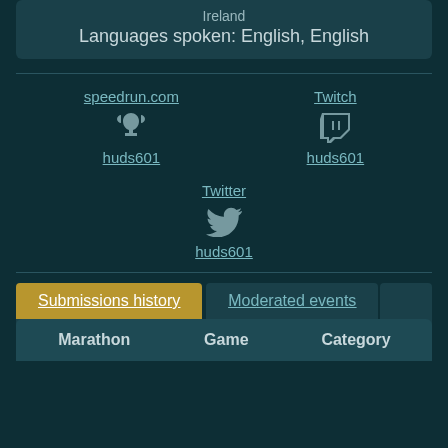Ireland
Languages spoken: English, English
speedrun.com
huds601
Twitch
huds601
Twitter
huds601
Submissions history
Moderated events
| Marathon | Game | Category |
| --- | --- | --- |